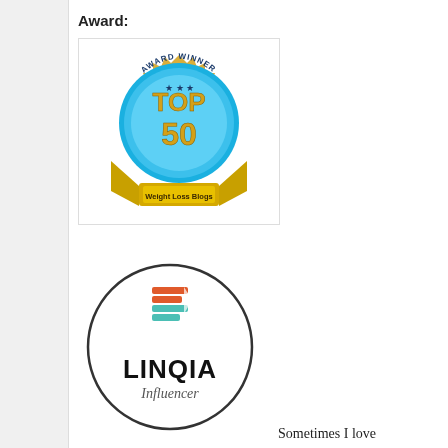Award:
[Figure (logo): Award Winner Top 50 Weight Loss Blogs badge — gold medallion with blue circular center, gold ribbon at bottom reading 'Weight Loss Blogs', text 'AWARD WINNER' at top, 'TOP 50' in large gold letters in center, three stars.]
[Figure (logo): LINQIA Influencer logo — black circle border, orange and teal stacked lines icon at top, 'LINQIA' in large bold black text, 'Influencer' in smaller gray text below.]
Sometimes I love